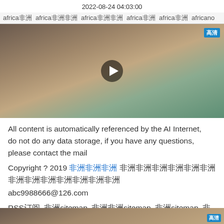2022-08-24 04:03:00
africa非洲 africa非洲非洲 africa非洲非洲 africa非洲 africa非洲 africano
[Figure (screenshot): Video thumbnail showing a person sleeping, with a play button overlay and HD badge in top right corner]
All content is automatically referenced by the AI Internet, do not do any data storage, if you have any questions, please contact the mail
Copyright ? 2019 非洲非洲非洲 非洲非洲非洲非洲非洲非洲非洲非洲非洲非洲非洲非洲非洲 abc9988666@126.com
RSS订阅 非洲sitemap 非洲非洲sitemap 非洲sitemap 非洲非洲sitemap 非洲非洲sitemap googlesitemap
mip.einong.cn/africa/
africa
[Figure (screenshot): Partial video thumbnail at bottom of page showing a person's face]